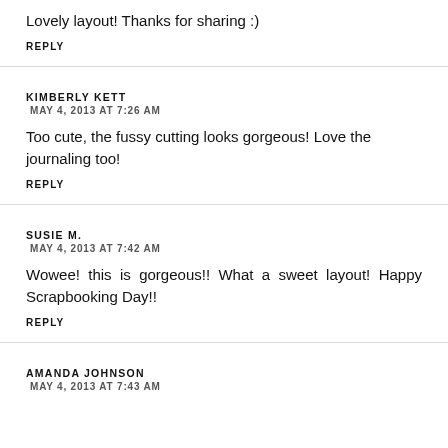Lovely layout! Thanks for sharing :)
REPLY
KIMBERLY KETT
MAY 4, 2013 AT 7:26 AM
Too cute, the fussy cutting looks gorgeous! Love the journaling too!
REPLY
SUSIE M.
MAY 4, 2013 AT 7:42 AM
Wowee! this is gorgeous!! What a sweet layout! Happy Scrapbooking Day!!
REPLY
AMANDA JOHNSON
MAY 4, 2013 AT 7:43 AM